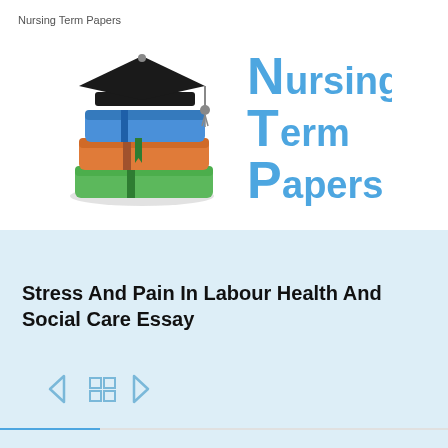Nursing Term Papers
[Figure (logo): Stack of colorful books with graduation cap on top, alongside 'Nursing Term Papers' text logo in blue]
Stress And Pain In Labour Health And Social Care Essay
[Figure (other): Navigation icons: left arrow, grid/menu icon, right arrow]